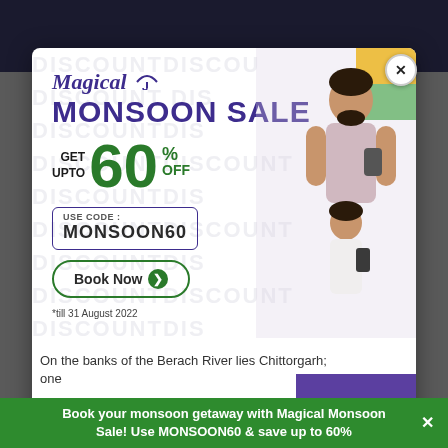[Figure (screenshot): Treebo hotel booking website screenshot showing a dark top navigation area, with a popup modal advertisement for Magical Monsoon Sale offering up to 60% off using code MONSOON60, valid till 31 August 2022. A photo of a man and young girl with backpacks appears on the right side.]
Magical 🌂 MONSOON SALE
GET UPTO 60% OFF
USE CODE : MONSOON60
Book Now ▶
*till 31 August 2022
SAVE up to 20% MORE when you log in to treebo.com
On the banks of the Berach River lies Chittorgarh; one
Book your monsoon getaway with Magical Monsoon Sale! Use MONSOON60 & save up to 60%